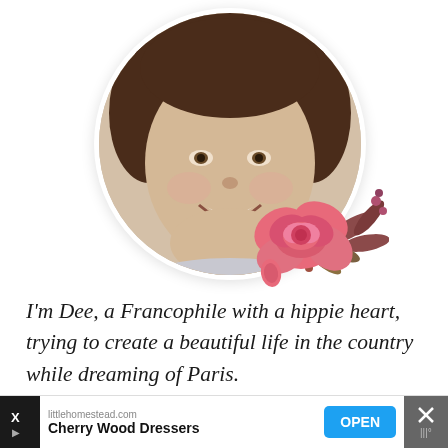[Figure (photo): Circular profile photo of a smiling woman with dark hair, in sepia/black-and-white tones, with a pink peony flower decoration in the lower right of the circle]
I'm Dee, a Francophile with a hippie heart, trying to create a beautiful life in the country while dreaming of Paris.
[Figure (illustration): Row of five social media icon buttons in teal/cyan color: email, Facebook, Instagram, Pinterest, Twitter]
[Figure (screenshot): Advertisement bar at bottom: littlehomestead.com Cherry Wood Dressers with OPEN button]